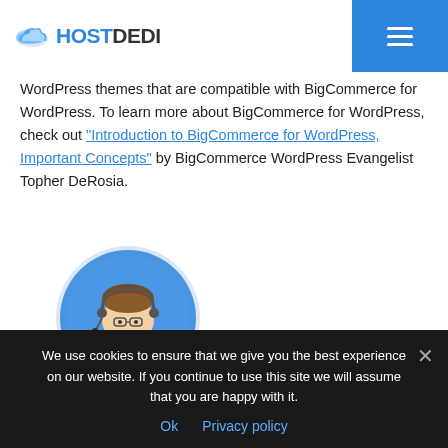HOSTDEDI
WordPress themes that are compatible with BigCommerce for WordPress. To learn more about BigCommerce for WordPress, check out “Introduction to BigCommerce for WordPress, Important Concepts” by BigCommerce WordPress Evangelist Topher DeRosia.
[Figure (illustration): Cartoon avatar illustration of a person with headset and laptop, in a blue circular frame with 'hd' text, styled as a tech support or developer character.]
With more than half a decade of experience in the tech industry, Robert has worked as a marketing
We use cookies to ensure that we give you the best experience on our website. If you continue to use this site we will assume that you are happy with it.